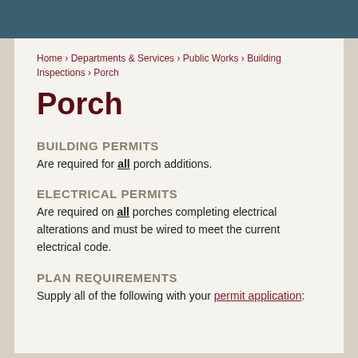Home › Departments & Services › Public Works › Building Inspections › Porch
Porch
BUILDING PERMITS
Are required for all porch additions.
ELECTRICAL PERMITS
Are required on all porches completing electrical alterations and must be wired to meet the current electrical code.
PLAN REQUIREMENTS
Supply all of the following with your permit application: